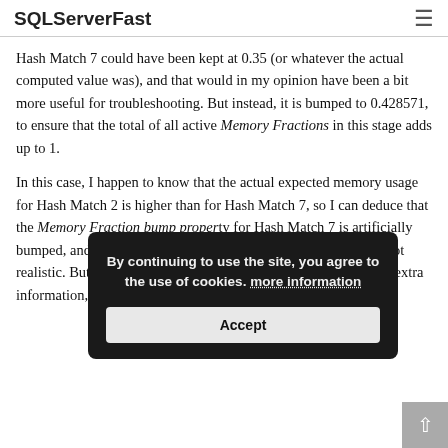SQLServerFast
Hash Match 7 could have been kept at 0.35 (or whatever the actual computed value was), and that would in my opinion have been a bit more useful for troubleshooting. But instead, it is bumped to 0.428571, to ensure that the total of all active Memory Fractions in this stage adds up to 1.
In this case, I happen to know that the actual expected memory usage for Hash Match 2 is higher than for Hash Match 7, so I can deduce that the Memory Fraction bump property for Hash Match 7 is artificially bumped, and the Memory Fractions Output of Hash Match 7 is not realistic. But I had to use extra information for that. Without that extra information, there is no way to be sure
By continuing to use the site, you agree to the use of cookies. more information
Accept